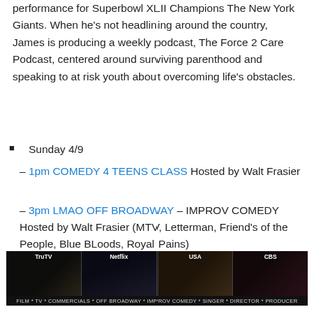performance for Superbowl XLII Champions The New York Giants. When he's not headlining around the country, James is producing a weekly podcast, The Force 2 Care Podcast, centered around surviving parenthood and speaking to at risk youth about overcoming life's obstacles.
Sunday 4/9
– 1pm COMEDY 4 TEENS CLASS Hosted by Walt Frasier
– 3pm LMAO OFF BROADWAY – IMPROV COMEDY Hosted by Walt Frasier (MTV, Letterman, Friend's of the People, Blue BLoods, Royal Pains)
[Figure (photo): Collage of four TV show stills with network logos: TruTV, Netflix, USA, CBS. Bottom bar reads: FILM * TV * COMMERCIALS * OFF BROADWAY * IMPROV COMEDY * SINGER * DIRECTOR * PRODUCER]